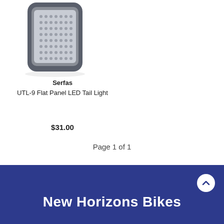[Figure (photo): Product photo of Serfas UTL-9 Flat Panel LED Tail Light - a dark gray rounded rectangular device with LED panel]
Serfas
UTL-9 Flat Panel LED Tail Light
$31.00
Page 1 of 1
New Horizons Bikes